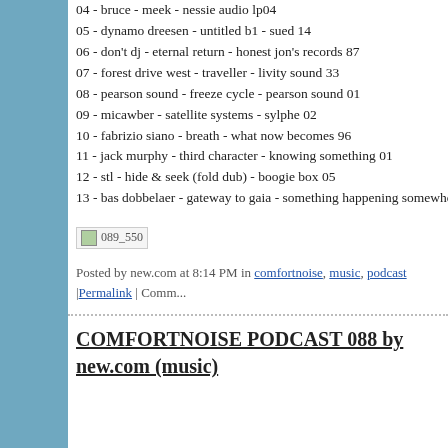04 - bruce - meek - nessie audio lp04
05 - dynamo dreesen - untitled b1 - sued 14
06 - don't dj - eternal return - honest jon's records 87
07 - forest drive west - traveller - livity sound 33
08 - pearson sound - freeze cycle - pearson sound 01
09 - micawber - satellite systems - sylphe 02
10 - fabrizio siano - breath - what now becomes 96
11 - jack murphy - third character - knowing something 01
12 - stl - hide & seek (fold dub) - boogie box 05
13 - bas dobbelaer - gateway to gaia - something happening somewhere 23
[Figure (other): Broken image placeholder labeled 089_550]
Posted by new.com at 8:14 PM in comfortnoise, music, podcast |Permalink | Comm...
COMFORTNOISE PODCAST 088 by new.com (music)